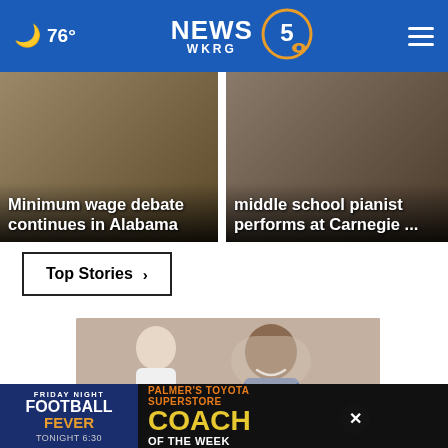🌙 76° | NEWS 5 WKRG | ☰
[Figure (photo): News card: Minimum wage debate continues in Alabama, background shows rolled money/cash]
[Figure (photo): News card: middle school pianist performs at Carnegie ..., background shows piano/keys]
Top Stories ›
[Figure (photo): Man smiling at dentist office, woman in white coat in foreground]
× (close button)
[Figure (infographic): Ad banner: Friday Night Football Fever Tonight 6:30 | Palmer's Toyota Superstore Coach of the Week]